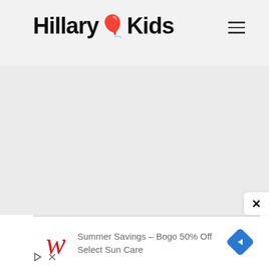Hillary Kids
[Figure (screenshot): Gray placeholder content area below the header]
[Figure (screenshot): Walgreens advertisement: Summer Savings - Bogo 50% Off Select Sun Care, with Walgreens W logo and blue diamond navigation arrow icon]